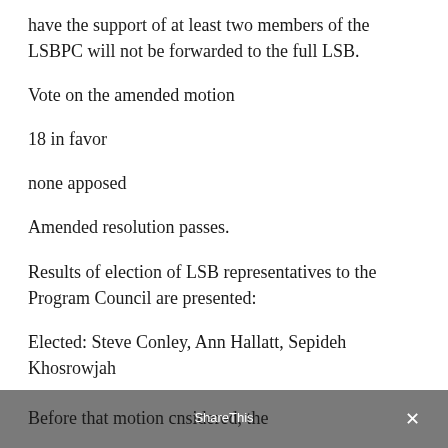have the support of at least two members of the LSBPC will not be forwarded to the full LSB.
Vote on the amended motion
18 in favor
none apposed
Amended resolution passes.
Results of election of LSB representatives to the Program Council are presented:
Elected: Steve Conley, Ann Hallatt, Sepideh Khosrowjah
Motion to table Agenda Item #9: Outreach Committee Resolution
Before that motion could be considered, the Special Order of the Day was...